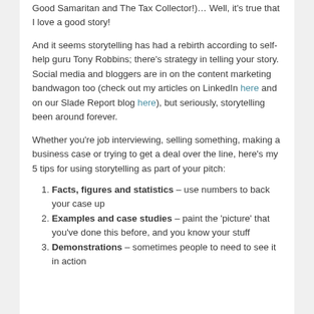Good Samaritan and The Tax Collector!)… Well, it's true that I love a good story!
And it seems storytelling has had a rebirth according to self-help guru Tony Robbins; there's strategy in telling your story. Social media and bloggers are in on the content marketing bandwagon too (check out my articles on LinkedIn here and on our Slade Report blog here), but seriously, storytelling been around forever.
Whether you're job interviewing, selling something, making a business case or trying to get a deal over the line, here's my 5 tips for using storytelling as part of your pitch:
Facts, figures and statistics – use numbers to back your case up
Examples and case studies – paint the 'picture' that you've done this before, and you know your stuff
Demonstrations – sometimes people to need to see it in action